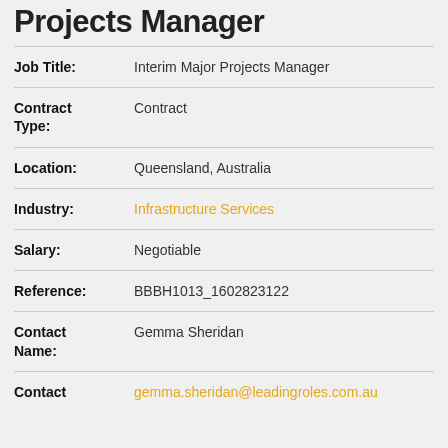Projects Manager
Job Title: Interim Major Projects Manager
Contract Type: Contract
Location: Queensland, Australia
Industry: Infrastructure Services
Salary: Negotiable
Reference: BBBH1013_1602823122
Contact Name: Gemma Sheridan
Contact gemma.sheridan@leadingroles.com.au